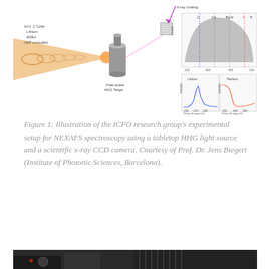[Figure (illustration): Illustration of NEXAFS spectroscopy experimental setup: a laser beam (orange cone) focused onto a free-space HHG target (metal cylinder), with x-ray grating and CCD detector. Inset graphs show x-ray spectrum with Carbon and Titanium edges (Counts vs eV), and two smaller plots showing Carbon and Titanium absorption spectra (Intensity vs Photon Energy in eV).]
Figure 1: Illustration of the ICFO research group's experimental setup for NEXAFS spectroscopy using a tabletop HHG light source and a scientific x-ray CCD camera. Courtesy of Prof. Dr. Jens Biegert (Institute of Photonic Sciences, Barcelona).
[Figure (photo): Partial photograph at the bottom of the page showing laboratory equipment, dark background with some metallic components visible.]